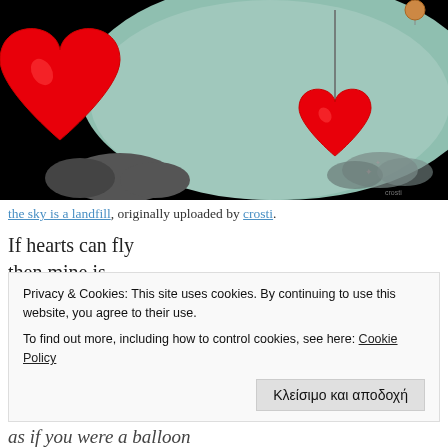[Figure (illustration): Digital illustration of red heart balloons floating against a dark and teal background. A large red heart is on the left, a smaller red heart balloon on a string is on the right, with cloud shapes below. Artist signature visible bottom right.]
the sky is a landfill, originally uploaded by crosti.
If hearts can fly
then mine is
winging its way,
past the rings of Saturn
and beyond….
As the sun sets
over the mountains
Privacy & Cookies: This site uses cookies. By continuing to use this website, you agree to their use.
To find out more, including how to control cookies, see here: Cookie Policy
as if you were a balloon